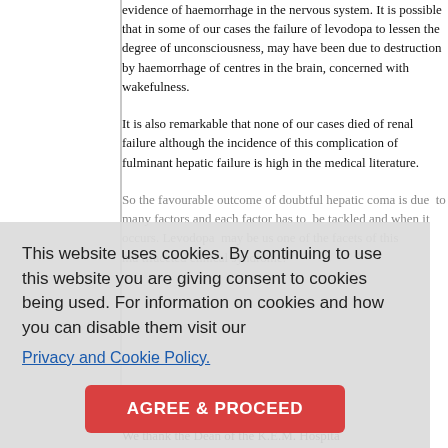evidence of haemorrhage in the nervous system. It is possible that in some of our cases the failure of levodopa to lessen the degree of unconsciousness, may have been due to destruction by haemorrhage of centres in the brain, concerned with wakefulness.
It is also remarkable that none of our cases died of renal failure although the incidence of this complication of fulminant hepatic failure is high in the medical literature.
So the favourable outcome of doubtful hepatic coma is due to many factors and each factor has to be tackled and when it occurs. Levodopa may be used one of the facets of this multifaceted clinical syndrome.
Acknowledgements
We thank the Dean of the K.E.M. Hospital
This website uses cookies. By continuing to use this website you are giving consent to cookies being used. For information on cookies and how you can disable them visit our Privacy and Cookie Policy.